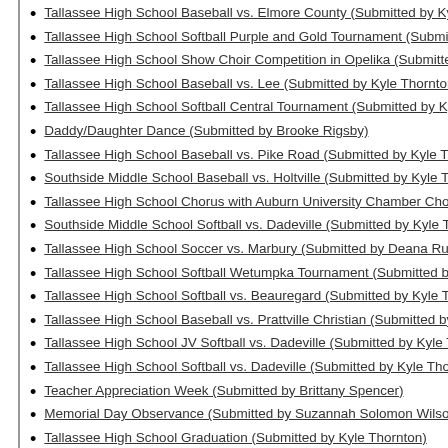Tallassee High School Baseball vs. Elmore County (Submitted by Kyle
Tallassee High School Softball Purple and Gold Tournament (Submitted
Tallassee High School Show Choir Competition in Opelika (Submitted b
Tallassee High School Baseball vs. Lee (Submitted by Kyle Thornton)
Tallassee High School Softball Central Tournament (Submitted by Kyle
Daddy/Daughter Dance (Submitted by Brooke Rigsby)
Tallassee High School Baseball vs. Pike Road (Submitted by Kyle Thor
Southside Middle School Baseball vs. Holtville (Submitted by Kyle Tho
Tallassee High School Chorus with Auburn University Chamber Choir a
Southside Middle School Softball vs. Dadeville (Submitted by Kyle Tho
Tallassee High School Soccer vs. Marbury (Submitted by Deana Russell
Tallassee High School Softball Wetumpka Tournament (Submitted by K
Tallassee High School Softball vs. Beauregard (Submitted by Kyle Thor
Tallassee High School Baseball vs. Prattville Christian (Submitted by K
Tallassee High School JV Softball vs. Dadeville (Submitted by Kyle Tho
Tallassee High School Softball vs. Dadeville (Submitted by Kyle Thornt
Teacher Appreciation Week (Submitted by Brittany Spencer)
Memorial Day Observance (Submitted by Suzannah Solomon Wilson)
Tallassee High School Graduation (Submitted by Kyle Thornton)
Tallassee Dixie Youth Baseball Opening Games (Submitted by Kyle Tho
Tallassee Dixie Youth Baseball (Submitted by Kyle Thornton)
Tallassee Dixie Youth Baseball June 26 (Submitted by Kyle Thornton)
Tallassee Dixie Youth Baseball June 30 (Submitted by Kyle Thornton)
Tallassee Dixie Youth Baseball July 6 (Submitted by Kyle Thornton)
Tallassee Dixie Youth Baseball July 9 (Submitted by Kyle Thornton)